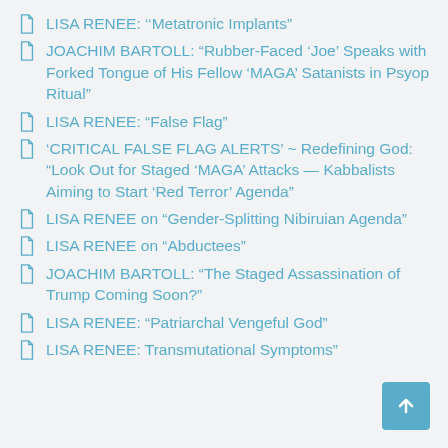LISA RENEE: ‘‘Metatronic Implants”
JOACHIM BARTOLL: “Rubber-Faced ‘Joe’ Speaks with Forked Tongue of His Fellow ‘MAGA’ Satanists in Psyop Ritual”
LISA RENEE: “False Flag”
‘CRITICAL FALSE FLAG ALERTS’ ~ Redefining God: “Look Out for Staged ‘MAGA’ Attacks — Kabbalists Aiming to Start ‘Red Terror’ Agenda”
LISA RENEE on “Gender-Splitting Nibiruian Agenda”
LISA RENEE on “Abductees”
JOACHIM BARTOLL: “The Staged Assassination of Trump Coming Soon?”
LISA RENEE: “Patriarchal Vengeful God”
LISA RENEE: Transmutational Symptoms”